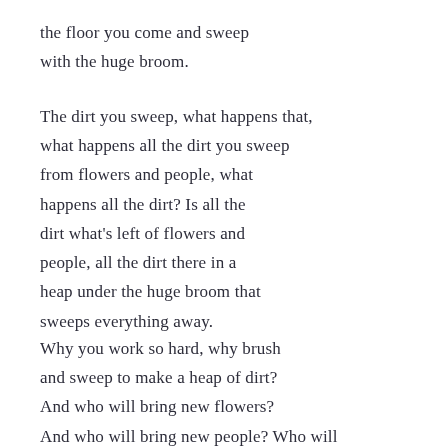the floor you come and sweep
with the huge broom.
The dirt you sweep, what happens that,
what happens all the dirt you sweep
from flowers and people, what
happens all the dirt? Is all the
dirt what's left of flowers and
people, all the dirt there in a
heap under the huge broom that
sweeps everything away.
Why you work so hard, why brush
and sweep to make a heap of dirt?
And who will bring new flowers?
And who will bring new people? Who will
bring new flowers to put in water